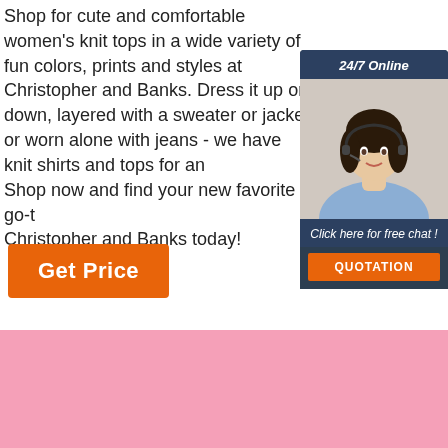Shop for cute and comfortable women's knit tops in a wide variety of fun colors, prints and styles at Christopher and Banks. Dress it up or down, layered with a sweater or jacket or worn alone with jeans - we have knit shirts and tops for an... Shop now and find your new favorite go-to at Christopher and Banks today!
[Figure (other): 24/7 Online chat widget with a woman wearing a headset, 'Click here for free chat!' text and an orange QUOTATION button]
Get Price
[Figure (other): Pink background section with Chinese text '更多细节' and English 'ABOUT DETAILS', plus a TOP logo with orange dots arc, and a fabric/clothing image strip at the bottom]